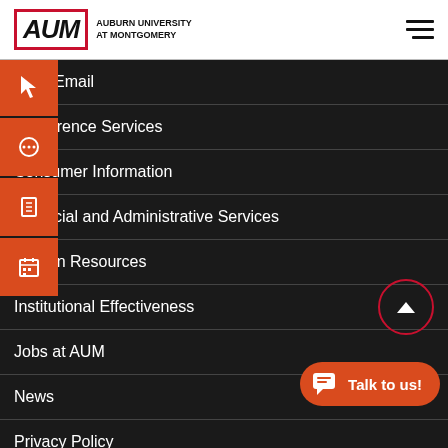[Figure (logo): AUM - Auburn University at Montgomery logo with hamburger menu icon]
AUM Email
Conference Services
Consumer Information
Financial and Administrative Services
Human Resources
Institutional Effectiveness
Jobs at AUM
News
Privacy Policy
WebPay
Annual Security and Fire Safety Report